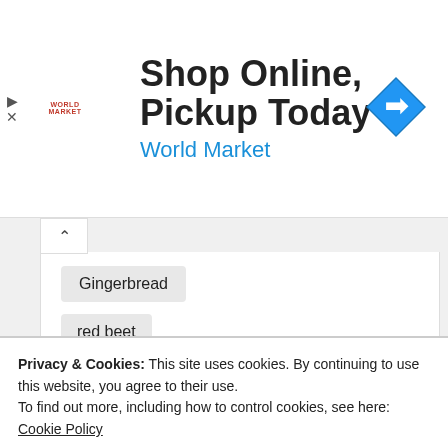[Figure (screenshot): World Market advertisement banner: 'Shop Online, Pickup Today' with World Market logo and blue navigation icon]
Gingerbread
red beet
LEAVE REPLY
Privacy & Cookies: This site uses cookies. By continuing to use this website, you agree to their use.
To find out more, including how to control cookies, see here: Cookie Policy